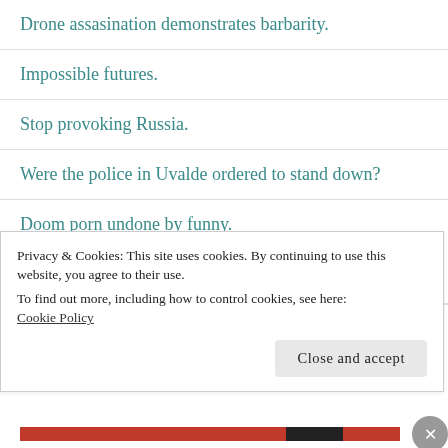Drone assasination demonstrates barbarity.
Impossible futures.
Stop provoking Russia.
Were the police in Uvalde ordered to stand down?
Doom porn undone by funny.
Recent Comments
Privacy & Cookies: This site uses cookies. By continuing to use this website, you agree to their use. To find out more, including how to control cookies, see here: Cookie Policy
Close and accept